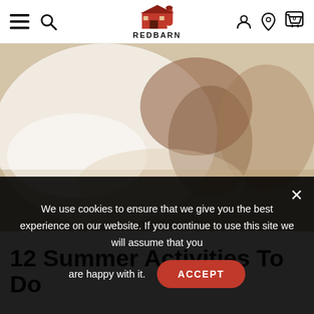REDBARN - navigation header with menu, search, logo, account, location, and cart icons
[Figure (photo): A child playing with a goat or farm animal outdoors in a sunny, sandy/straw environment. The image is bright and washed out in places.]
12 Summer Activities To Do
We use cookies to ensure that we give you the best experience on our website. If you continue to use this site we will assume that you are happy with it. ACCEPT